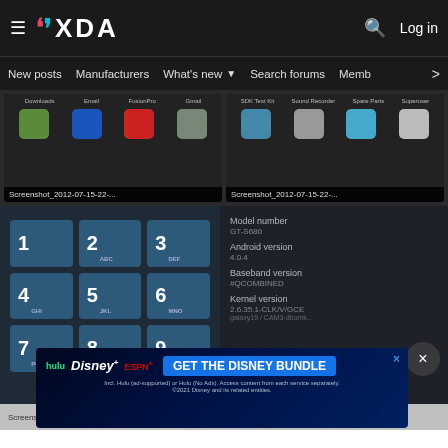XDA — New posts  Manufacturers  What's new  Search forums  Members
[Figure (screenshot): XDA Developers forum page showing two screenshot thumbnails of Android app drawer (Screenshot_2012-07-15-22-...) at top, a phone dialer screenshot on the left and Android device info panel on the right showing Model number GT-S680, Android version 4.0.4, Baseband version, Kernel version 2.6.35.1-CLK/V/GCE]
Screenshot_2012-07-15-22-...
Screenshot_2012-07-15-22-...
Model number
GT-S680
Android version
4.0.4
Baseband version
#QCOMBINED
Kernel version
2.6.35.1-CLK/V/GCE
Screenshot_2012-07-15-22-...
Screenshot_2012-07-15-22-...
[Figure (screenshot): Disney Bundle advertisement banner: hulu Disney+ ESPN+ GET THE DISNEY BUNDLE. Incl. Hulu (ad-supported) or Hulu (No Ads). Access content from each service separately. ©2021 Disney and its related entities.]